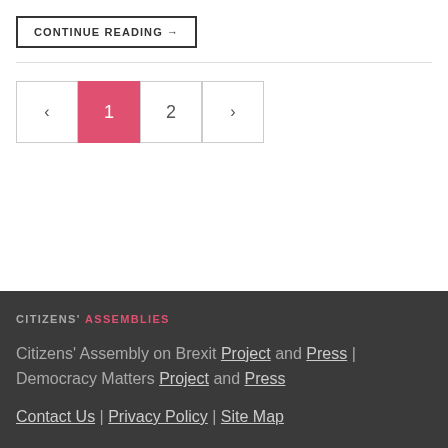CONTINUE READING →
← 1 2 →
CITIZENS' ASSEMBLIES
Citizens' Assembly on Brexit Project and Press | Democracy Matters Project and Press
Contact Us | Privacy Policy | Site Map